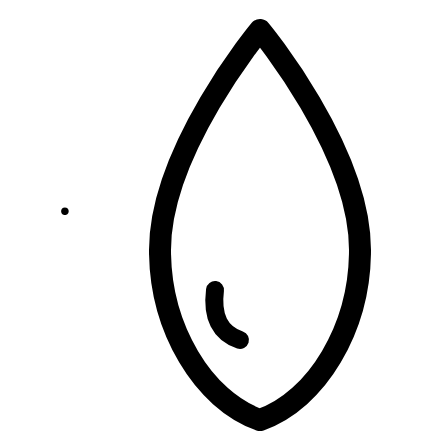Oceans
[Figure (illustration): Water drop / ocean icon - black outline of a teardrop shape with a small curved highlight inside]
Business
[Figure (illustration): Briefcase / business icon - solid black briefcase with handle and clasp]
[Figure (illustration): Sheriff star / settings icon - partially visible solid black star-badge icon at bottom of page]